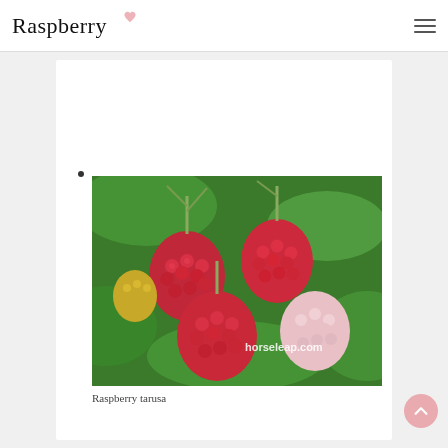Raspberry
[Figure (photo): Close-up photograph of ripe red raspberries hanging on a plant with green leaves. Watermark reads horseleap.com]
Raspberry tarusa